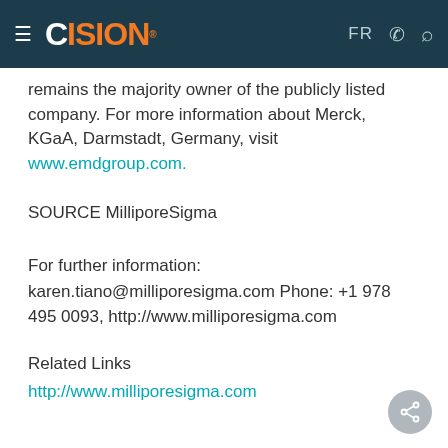CISION | FR
remains the majority owner of the publicly listed company. For more information about Merck, KGaA, Darmstadt, Germany, visit www.emdgroup.com.
SOURCE MilliporeSigma
For further information: karen.tiano@milliporesigma.com Phone: +1 978 495 0093, http://www.milliporesigma.com
Related Links
http://www.milliporesigma.com